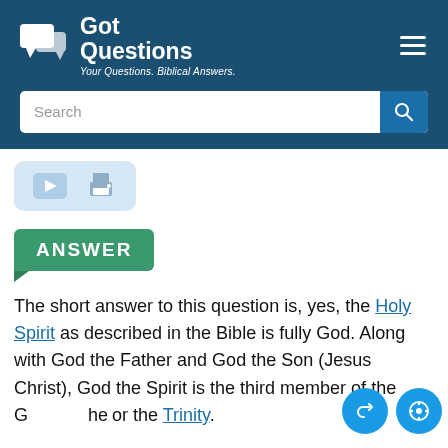Got Questions — Your Questions. Biblical Answers.
[Figure (screenshot): Search bar with magnifying glass icon on dark blue background]
[Figure (infographic): Media buttons: video play and print icons on light blue rounded rectangle background]
ANSWER
The short answer to this question is, yes, the Holy Spirit as described in the Bible is fully God. Along with God the Father and God the Son (Jesus Christ), God the Spirit is the third member of the Godhead or the Trinity.